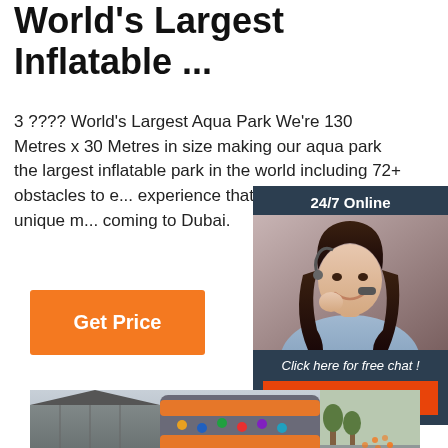World's Largest Inflatable ...
3 ???? World's Largest Aqua Park We're 130 Metres x 30 Metres in size making our aqua park the largest inflatable park in the world including 72+ obstacles to e... experience that always turns into a unique m... coming to Dubai.
Get Price
[Figure (infographic): 24/7 Online customer service widget with a woman wearing a headset, dark navy background, 'Click here for free chat!' text, and orange QUOTATION button]
[Figure (photo): Photo of an inflatable rock climbing wall obstacle with orange and gray colors and colorful handholds, taken outdoors near a building]